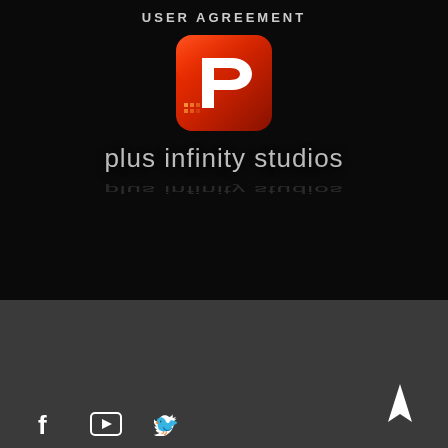USER AGREEMENT
[Figure (logo): Plus Infinity Studios logo: red rounded square with white P letter and orange gradient, with company name 'plus infinity studios' below in gray text]
© 2021 Plus Infinity Studios, All rights reserved.
[Figure (illustration): Social media icons: Facebook (f), YouTube (rectangle play button), Twitter (bird) and a navigation arrow icon at bottom right]